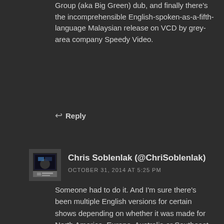Group (aka Big Green) dub, and finally there's the incomprehensible English-spoken-as-a-fifth-language Malaysian release on VCD by grey-area company Speedy Video.
↩ Reply
Chris Soblenlak (@ChriSoblenlak)
OCTOBER 31, 2014 AT 5:25 PM
Someone had to do it. And I'm sure there's been multiple English versions for certain shows depending on whether it was made for North America, Europe, Australia or Southeast Asia.
↩ Reply